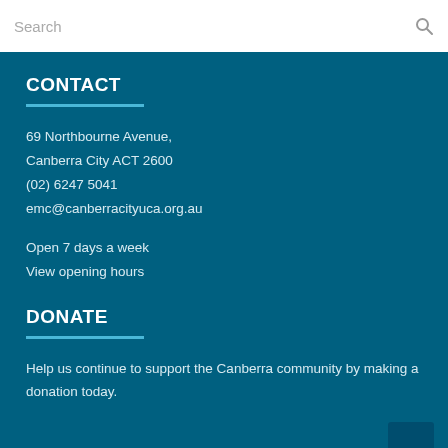Search
CONTACT
69 Northbourne Avenue,
Canberra City ACT 2600
(02) 6247 5041
emc@canberracityuca.org.au
Open 7 days a week
View opening hours
DONATE
Help us continue to support the Canberra community by making a donation today.